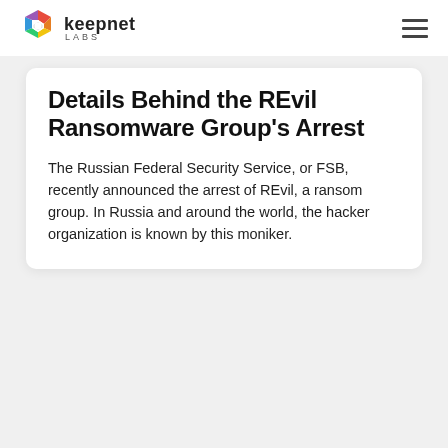keepnet LABS
Details Behind the REvil Ransomware Group's Arrest
The Russian Federal Security Service, or FSB, recently announced the arrest of REvil, a ransom group. In Russia and around the world, the hacker organization is known by this moniker.